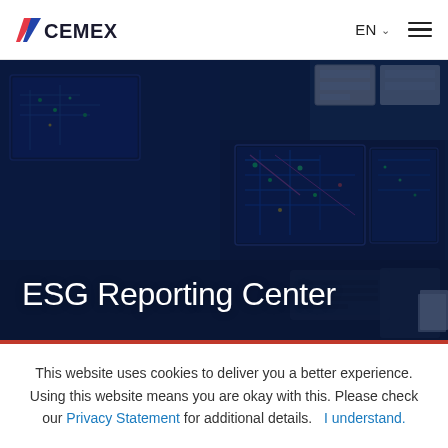CEMEX | EN | Navigation menu
[Figure (photo): Control room with multiple computer monitors displaying complex industrial engineering diagrams and schematics in blue/green, with ESG Reporting Center text overlay]
ESG Reporting Center
This website uses cookies to deliver you a better experience. Using this website means you are okay with this. Please check our Privacy Statement for additional details.  I understand.